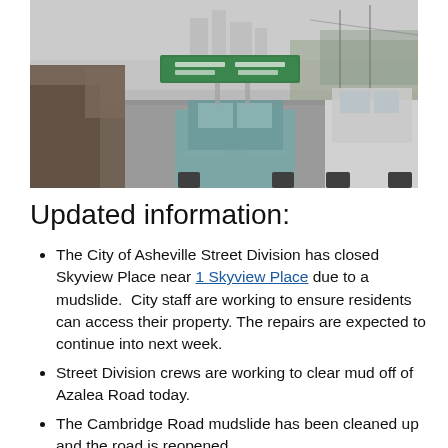[Figure (photo): Traffic photo showing cars on a hazy highway with green highway signs overhead, trees visible in background, overcast/smoggy sky]
Updated information:
The City of Asheville Street Division has closed Skyview Place near 1 Skyview Place due to a mudslide.  City staff are working to ensure residents can access their property. The repairs are expected to continue into next week.
Street Division crews are working to clear mud off of Azalea Road today.
The Cambridge Road mudslide has been cleaned up and the road is reopened.
The river access point at the Craven Street